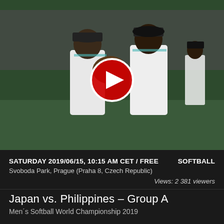[Figure (photo): Two softball players in white uniforms with teal trim on a field, one holding a glove up near his face. A red YouTube play button overlay is visible in the center. A third player is visible in the background on the right. A softball logo is visible in the upper left background.]
SATURDAY 2019/06/15, 10:15 AM CET / FREE    SOFTBALL
Svoboda Park, Prague (Praha 8, Czech Republic)
Views: 2 381 viewers
Japan vs. Philippines – Group A
Men´s Softball World Championship 2019